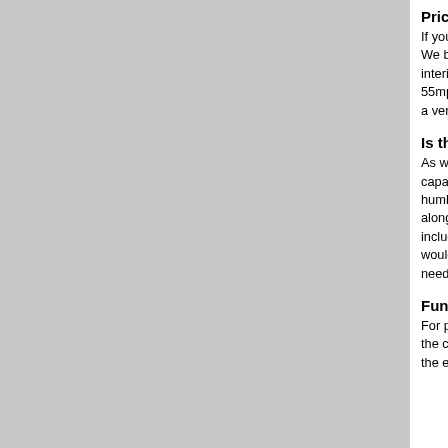Pricing/Value
If you are in the market for a great looking hyb... We briefly drove the $22,830 Insight LX and ca... interior and feature set are a little bit spartan, b... 55mpg City label. In the two trim levels that we... a very nice cloth interior.
Is this the car for me?
As we drove the Insight, we liked it a lot, but w... capable of delivering better than 40MPG on th... humble opinion, the Insight is the best looking... along in the city, it's hard to argue with the virtu... include a good mix of open road travel and/or ... would be a better fit. The good news is that Ho... needs are quite high.
Fun fact
For packaging reasons(?) the Insight's 12V ba... the car, Honda has provided a special termina... the end of the photo gallery below.
[Figure (screenshot): Dark strip with partial image visible at bottom of content area]
[Figure (screenshot): Advertisement banner: Tally app - Fast credit card payoff with Download Now button]